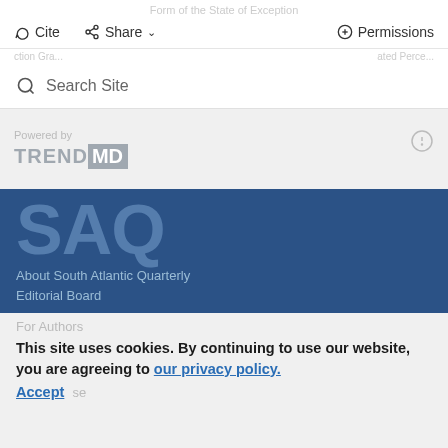Form of the State of Exception
Cite  Share  Permissions
Powered by TRENDMD
Search Site
[Figure (logo): TrendMD logo with 'TREND' in grey and 'MD' in white on grey background]
SAQ
About South Atlantic Quarterly
Editorial Board
For Authors
This site uses cookies. By continuing to use our website, you are agreeing to our privacy policy. Accept